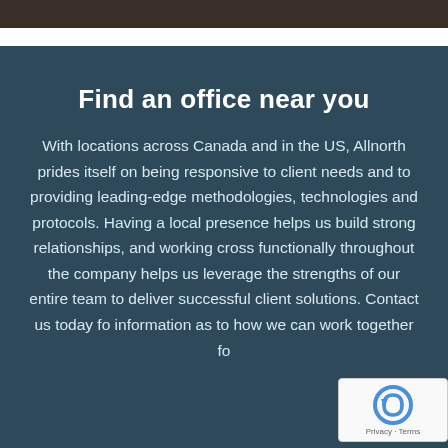[Figure (photo): Dark photo strip at top of page showing partial image]
Find an office near you
With locations across Canada and in the US, Allnorth prides itself on being responsive to client needs and to providing leading-edge methodologies, technologies and protocols. Having a local presence helps us build strong relationships, and working cross functionally throughout the company helps us leverage the strengths of our entire team to deliver successful client solutions. Contact us today fo information as to how we can work together fo